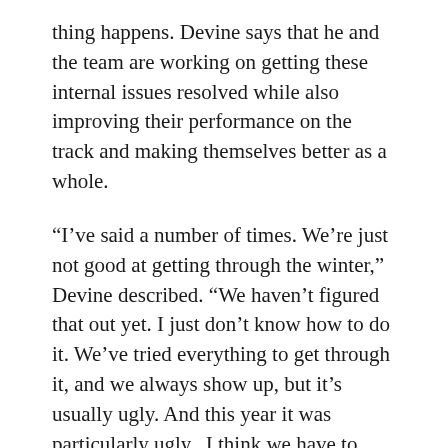thing happens. Devine says that he and the team are working on getting these internal issues resolved while also improving their performance on the track and making themselves better as a whole.
“I’ve said a number of times. We’re just not good at getting through the winter,” Devine described. “We haven’t figured that out yet. I just don’t know how to do it. We’ve tried everything to get through it, and we always show up, but it’s usually ugly. And this year it was particularly ugly.  I think we have to fight off the people who are attacking us. There’s a lot of that. It’s easy to pick on somebody when they’re going through change, or down luck, or whatever those words are. Misconception about our suppliers, vendo…nd all this you hear so much about. And I’m just exhausted.